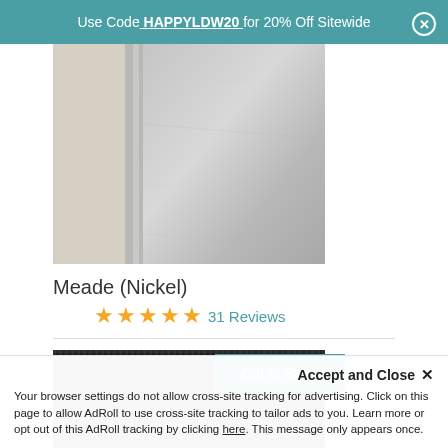Use Code HAPPYLDW20 for 20% Off Sitewide
[Figure (photo): Product photo of Meade (Nickel) mirror — cream/beige left panel and brushed silver/nickel right panel]
Meade (Nickel)
★★★★★ 31 Reviews
[Figure (photo): Product photo showing dark woven/textured material with Out of Stock overlay badge]
Accept and Close ✕
Your browser settings do not allow cross-site tracking for advertising. Click on this page to allow AdRoll to use cross-site tracking to tailor ads to you. Learn more or opt out of this AdRoll tracking by clicking here. This message only appears once.